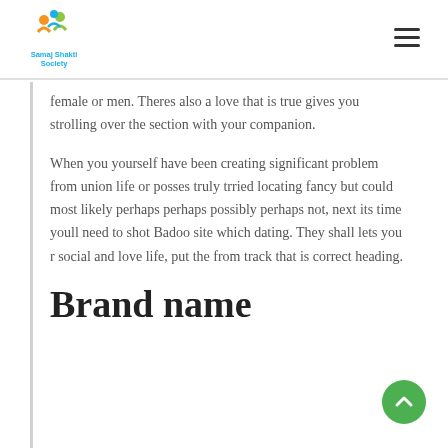Samaj Shakti Society
female or men. Theres also a love that is true gives you strolling over the section with your companion.
When you yourself have been creating significant problem from union life or posses truly trried locating fancy but could most likely perhaps perhaps possibly perhaps not, next its time youll need to shot Badoo site which dating. They shall lets you r social and love life, put the from track that is correct heading.
Brand name